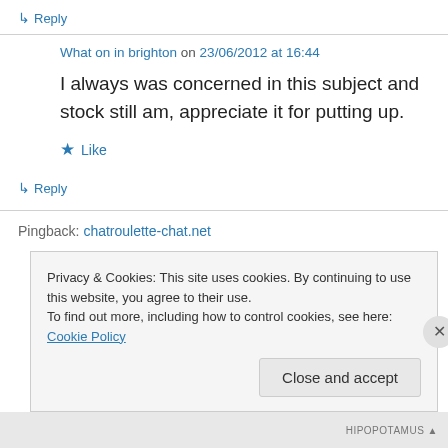↳ Reply
What on in brighton on 23/06/2012 at 16:44
I always was concerned in this subject and stock still am, appreciate it for putting up.
★ Like
↳ Reply
Pingback: chatroulette-chat.net
Privacy & Cookies: This site uses cookies. By continuing to use this website, you agree to their use. To find out more, including how to control cookies, see here: Cookie Policy
Close and accept